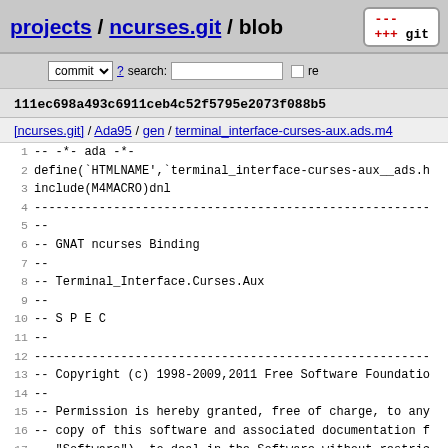projects / ncurses.git / blob
commit ? search: re
111ec698a493c6911ceb4c52f5795e2073f088b5
[ncurses.git] / Ada95 / gen / terminal_interface-curses-aux.ads.m4
1  --   -*-  ada -*-
2 define(`HTMLNAME',`terminal_interface-curses-aux__ads.h
3 include(M4MACRO)dnl
4 -------------------------------------------------------
5 --
6 --                              GNAT ncurses Binding
7 --
8 --                 Terminal_Interface.Curses.Aux
9 --
10 --                             S P E C
11 --
12 -------------------------------------------------------
13 -- Copyright (c) 1998-2009,2011 Free Software Foundatio
14 --
15 -- Permission is hereby granted, free of charge, to any
16 -- copy of this software and associated documentation f
17 -- "Software"), to deal in the Software without restric
18 -- without limitation the rights to use, copy, modify,
19 -- distribute, distribute with modifications, sublicens
20 -- copies of the Software, and to permit persons to who
21 --